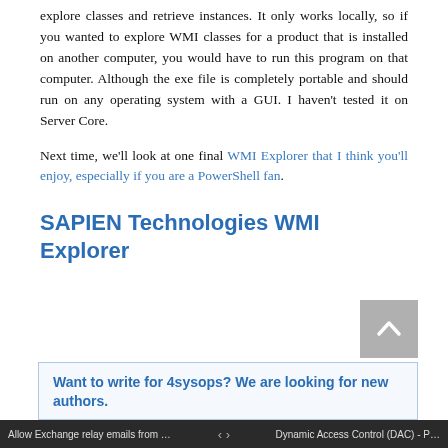explore classes and retrieve instances. It only works locally, so if you wanted to explore WMI classes for a product that is installed on another computer, you would have to run this program on that computer. Although the exe file is completely portable and should run on any operating system with a GUI. I haven't tested it on Server Core.
Next time, we'll look at one final WMI Explorer that I think you'll enjoy, especially if you are a PowerShell fan.
SAPIEN Technologies WMI Explorer
Want to write for 4sysops? We are looking for new authors.
Allow Exchange relay emails from ... | < > | Dynamic Access Control (DAC) - P...